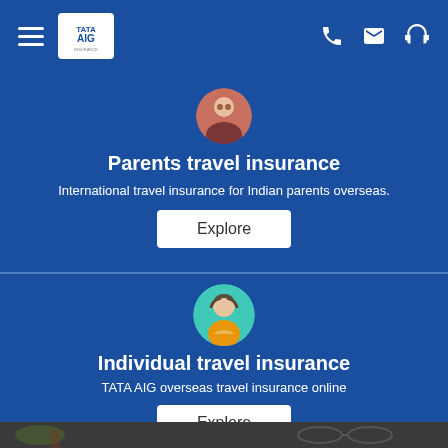TATA AIG navigation bar with hamburger menu, logo, phone, email, and headset icons
[Figure (illustration): Circular avatar icon of an elderly person (parent) with reddish-brown background, partially visible at top]
Parents travel insurance
International travel insurance for Indian parents overseas.
Explore
[Figure (illustration): Circular avatar icon of a woman with short hair, teal/turquoise background, wearing orange top]
Individual travel insurance
TATA AIG overseas travel insurance online
Explore
[Figure (photo): Partial photo at bottom showing desk items — glasses and other objects, dark background]